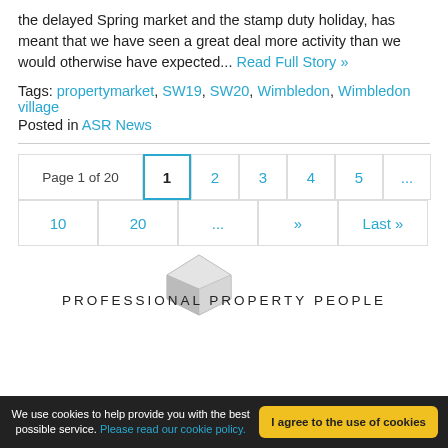the delayed Spring market and the stamp duty holiday, has meant that we have seen a great deal more activity than we would otherwise have expected... Read Full Story »
Tags: propertymarket, SW19, SW20, Wimbledon, Wimbledon village
Posted in ASR News
[Figure (other): Pagination navigation showing Page 1 of 20 with links to pages 1 (active), 2, 3, 4, 5, ..., 10, 20, ..., », Last »]
[Figure (logo): Professional Property People logo with geometric diamond-shaped icon in grey and text PROFESSIONAL PROPERTY PEOPLE]
We use cookies to help provide you with the best possible service. Please read our cookie policy. | I agree to the use of cookies